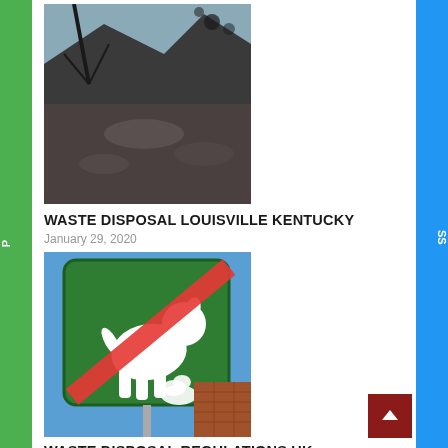[Figure (photo): Rocky hillside or burned mountain landscape with bare tree branches in foreground, dark rocks and debris visible]
WASTE DISPOSAL LOUISVILLE KENTUCKY
January 29, 2020
[Figure (photo): Green square road sign with white dog defecating icon crossed out by a red diagonal stripe, mounted on a pole against a blue sky with a brick building in background]
WASTE DISPOSAL REGULATIONS UK